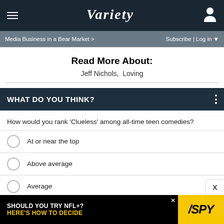VARIETY
Media Business in a Bear Market >   Subscribe | Log in
Read More About:
Jeff Nichols,  Loving
WHAT DO YOU THINK?
How would you rank 'Clueless' among all-time teen comedies?
At or near the top
Above average
Average
Below average
[Figure (infographic): Advertisement banner: SHOULD YOU TRY NFL+? HERE'S HOW TO DECIDE with SPY logo]